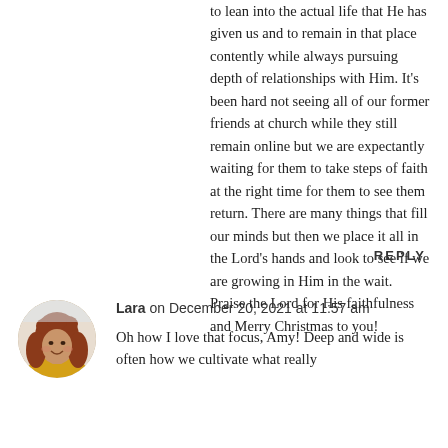to lean into the actual life that He has given us and to remain in that place contently while always pursuing depth of relationships with Him. It's been hard not seeing all of our former friends at church while they still remain online but we are expectantly waiting for them to take steps of faith at the right time for them to see them return. There are many things that fill our minds but then we place it all in the Lord's hands and look to see if we are growing in Him in the wait. Praise the Lord for His faithfulness and Merry Christmas to you!
REPLY
[Figure (photo): Circular avatar photo of a woman with curly red hair wearing a yellow sweater, smiling]
Lara on December 20, 2021 at 11:57 am
Oh how I love that focus, Amy! Deep and wide is often how we cultivate what really